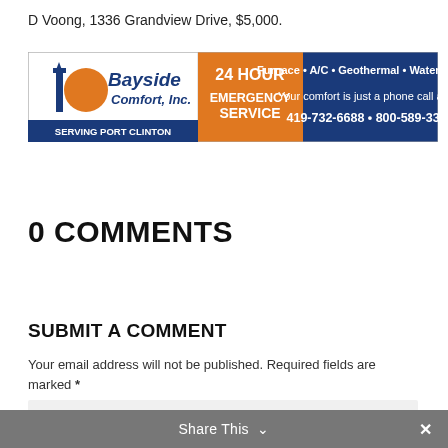D Voong, 1336 Grandview Drive, $5,000.
[Figure (advertisement): Bayside Comfort, Inc. advertisement banner. 24 HOUR EMERGENCY SERVICE. Furnace • A/C • Geothermal • Water Heaters. Your comfort is just a phone call away. 419-732-6688 • 800-589-3366]
0 COMMENTS
SUBMIT A COMMENT
Your email address will not be published. Required fields are marked *
Comment *
Share This ∨  ×